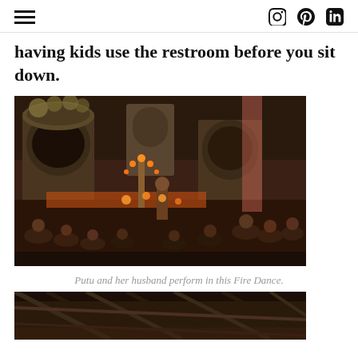≡  [instagram icon] [pinterest icon] in
having kids use the restroom before you sit down.
[Figure (photo): A Balinese Fire Dance performance at night in a temple courtyard. Multiple performers and audience members are seated around a central fire/candle arrangement. Ornate temple gate architecture is visible in the background.]
Putu and her husband perform in this Fire Dance.
[Figure (photo): Interior view of a traditional Balinese structure with wooden roof beams visible, dark ambiance.]